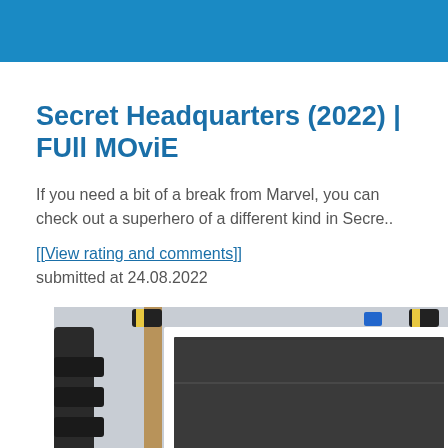Secret Headquarters (2022) | FUll MOviE
If you need a bit of a break from Marvel, you can check out a superhero of a different kind in Secre..
[[View rating and comments]]
submitted at 24.08.2022
[Figure (photo): Photo of a framed screen or panel propped up on a wooden stand with clamps, in what appears to be a workshop or garage setting. The frame is white and the surface inside is dark/grey.]